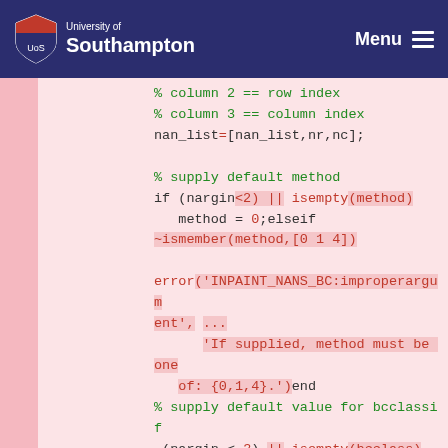University of Southampton — Menu
% column 2 == row index
% column 3 == column index
nan_list=[nan_list,nr,nc];

% supply default method
if (nargin<2) || isempty(method)
    method = 0;elseif
~ismember(method,[0 1 4])

error('INPAINT_NANS_BC:improperargument', ...
    'If supplied, method must be one of: {0,1,4}.')end
% supply default value for bcclassif
(nargin < 3) || isempty(bcclass)
    bcclass = 'sphere';elseif
~ischar(bcclass)

error('INPAINT_NANS_BC:improperargument', ...